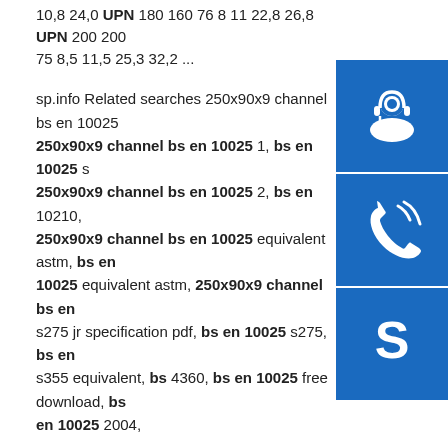10,8 24,0 UPN 180 160 76 8 11 22,8 26,8 UPN 200 200 75 8,5 11,5 25,3 32,2 ...
sp.info Related searches 250x90x9 channel bs en 10025 250x90x9 channel bs en 10025 1, bs en 10025 s 250x90x9 channel bs en 10025 2, bs en 10210, 250x90x9 channel bs en 10025 equivalent astm, bs en 10025 equivalent astm, 250x90x9 channel bs en s275 jr specification pdf, bs en 10025 s275, bs en s355 equivalent, bs 4360, bs en 10025 free download, bs en 10025 2004,
Message
You may also leave contact information, we will contact you as soon as possible!
Name
E-Mail